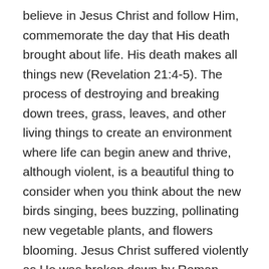believe in Jesus Christ and follow Him, commemorate the day that His death brought about life. His death makes all things new (Revelation 21:4-5). The process of destroying and breaking down trees, grass, leaves, and other living things to create an environment where life can begin anew and thrive, although violent, is a beautiful thing to consider when you think about the new birds singing, bees buzzing, pollinating new vegetable plants, and flowers blooming. Jesus Christ suffered violently as He was broken down by Roman soldiers and unjustly condemned to die brutally on the cross. He did not deserve to die, yet He, an innocent man, paid a price that was not His to pay. Since the sixteenth century, Lady Justice has been depicted wearing a blindfold suggesting that justice should be applied regardless of one's wealth, status, or power. This image suggests impartiality. But this only works properly in a